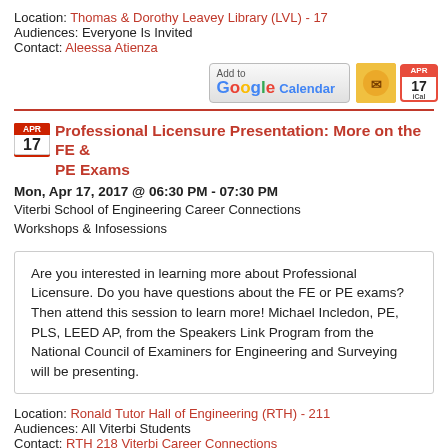Location: Thomas & Dorothy Leavey Library (LVL) - 17
Audiences: Everyone Is Invited
Contact: Aleessa Atienza
[Figure (other): Add to Google Calendar, Yahoo Calendar, and iCal buttons]
Professional Licensure Presentation: More on the FE & PE Exams
Mon, Apr 17, 2017 @ 06:30 PM - 07:30 PM
Viterbi School of Engineering Career Connections
Workshops & Infosessions
Are you interested in learning more about Professional Licensure. Do you have questions about the FE or PE exams? Then attend this session to learn more! Michael Incledon, PE, PLS, LEED AP, from the Speakers Link Program from the National Council of Examiners for Engineering and Surveying will be presenting.
Location: Ronald Tutor Hall of Engineering (RTH) - 211
Audiences: All Viterbi Students
Contact: RTH 218 Viterbi Career Connections